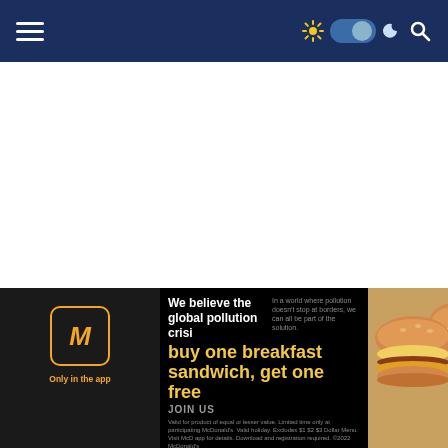Navigation bar with hamburger menu, light/dark toggle, and search icon
[Figure (screenshot): White content area of a web page, mostly blank]
[Figure (screenshot): Light blue rounded card/panel]
[Figure (advertisement): McDonald's app advertisement banner: 'buy one breakfast sandwich, get one free'. Shows McDonald's logo, text about global pollution crisis, JOIN US call to action, image of two breakfast sandwiches, and fine print. Valid for product of equal or lesser value. Limited time only at participating McDonald's. Valid holiday. Excludes $1 $2 $3 Dollar Menu. Visit McD app for details. Download and registration required. ©2022 McDonald's]